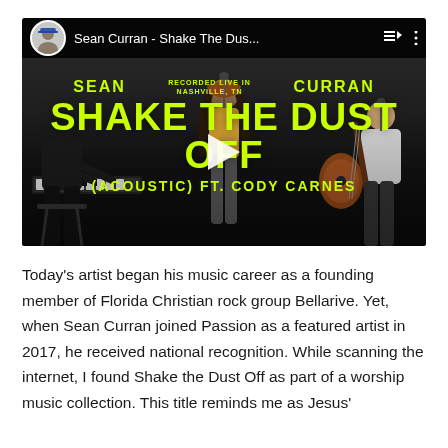[Figure (screenshot): YouTube video thumbnail showing Sean Curran - Shake The Dus... with musicians performing on stage. Video title overlay reads SHAKE THE DUST OFF (ACOUSTIC) FT. CODY CARNES in bright yellow-green text. A play button is visible in the center.]
Today's artist began his music career as a founding member of Florida Christian rock group Bellarive. Yet, when Sean Curran joined Passion as a featured artist in 2017, he received national recognition. While scanning the internet, I found Shake the Dust Off as part of a worship music collection. This title reminds me as Jesus'